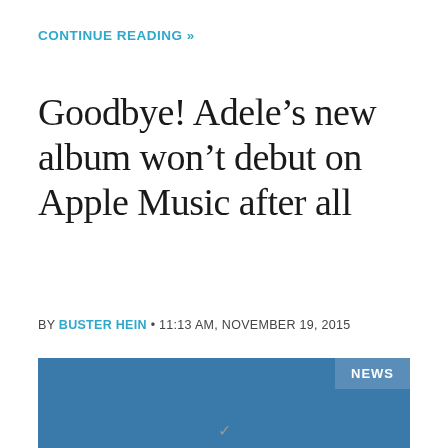CONTINUE READING »
Goodbye! Adele's new album won't debut on Apple Music after all
BY BUSTER HEIN • 11:13 AM, NOVEMBER 19, 2015
[Figure (photo): Blue rectangular image placeholder with NEWS badge in upper right corner]